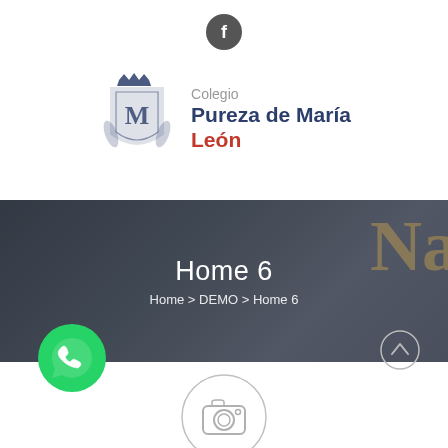[Figure (logo): Facebook icon: dark gray circle with white 'f' letter]
[Figure (logo): Colegio Pureza de María León — shield crest logo with text]
[Figure (screenshot): Hero banner with dark background showing a woman; text overlay: 'Home 6' and breadcrumb 'Home > DEMO > Home 6']
[Figure (logo): WhatsApp green circle icon with phone handset]
[Figure (other): Scroll-to-top button: gray circle with upward arrow]
[Figure (other): Camera icon in a light gray circle outline at bottom center]